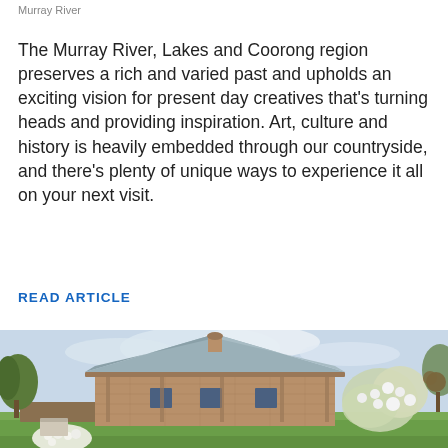Murray River
The Murray River, Lakes and Coorong region preserves a rich and varied past and upholds an exciting vision for present day creatives that's turning heads and providing inspiration. Art, culture and history is heavily embedded through our countryside, and there's plenty of unique ways to experience it all on your next visit.
READ ARTICLE
[Figure (photo): A historic sandstone building with a hip metal roof, chimney, and verandah, surrounded by a garden with white and red flowering plants and trees under a pale sky.]